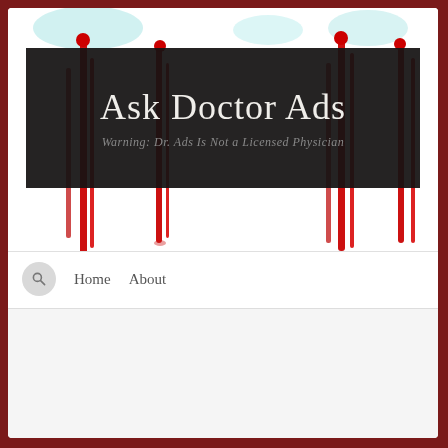[Figure (illustration): Website header banner for 'Ask Doctor Ads' blog with decorative red and teal streaks/drips on white background, overlaid with a dark/black semi-transparent banner containing the site title and subtitle.]
Ask Doctor Ads
Warning: Dr. Ads Is Not a Licensed Physician
Home   About
ARCHIVES: HILARY CLINTON
Apr 27
Why Is Club for Growth Trolling I D...